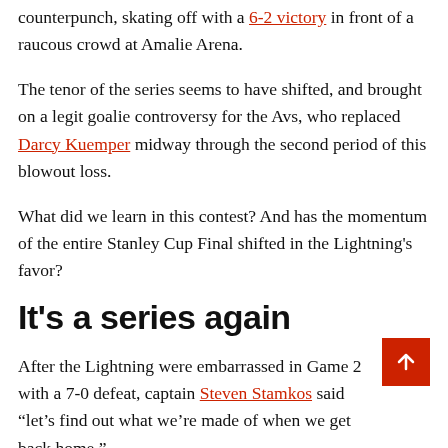counterpunch, skating off with a 6-2 victory in front of a raucous crowd at Amalie Arena.
The tenor of the series seems to have shifted, and brought on a legit goalie controversy for the Avs, who replaced Darcy Kuemper midway through the second period of this blowout loss.
What did we learn in this contest? And has the momentum of the entire Stanley Cup Final shifted in the Lightning's favor?
It's a series again
After the Lightning were embarrassed in Game 2 with a 7-0 defeat, captain Steven Stamkos said “let’s find out what we’re made of when we get back home.”
What a response in Game 3 from the back-to-back